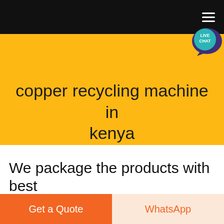copper recycling machine in kenya
We package the products with best
Get a Quote
WhatsApp